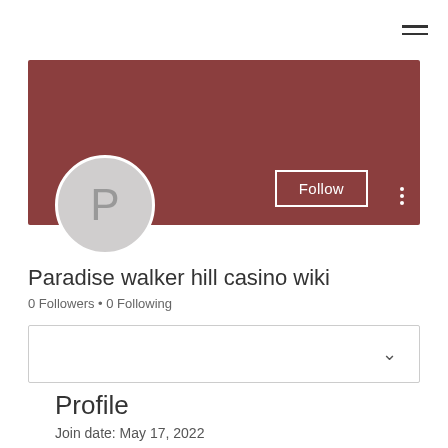[Figure (screenshot): Navigation bar with hamburger menu icon in top right corner]
[Figure (illustration): Dark reddish-brown banner image with Follow button and three-dot menu, and circular avatar with letter P]
Paradise walker hill casino wiki
0 Followers • 0 Following
[Figure (other): Dropdown selector box with chevron]
Profile
Join date: May 17, 2022